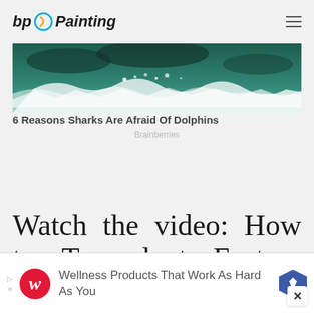bp Painting
[Figure (photo): Ocean waves with white foam, dark teal water, partial view of what appears to be a dolphin or shark wake]
6 Reasons Sharks Are Afraid Of Dolphins
Brainberries
Watch the video: How to Transplant Eastern Red Cedar Trees
[Figure (infographic): Advertisement banner: Walgreens logo with text 'Wellness Products That Work As Hard As You' and a blue navigation badge icon]